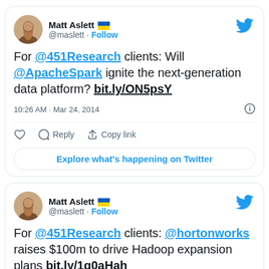[Figure (screenshot): First tweet card from Matt Aslett (@maslett) about @451Research clients and @ApacheSpark igniting next-generation data platform, posted 10:26 AM Mar 24, 2014, with reply/copy link actions and Explore button]
[Figure (screenshot): Second tweet card from Matt Aslett (@maslett) about @451Research clients and @hortonworks raising $100m to drive Hadoop expansion plans, bit.ly/1g0aHah]